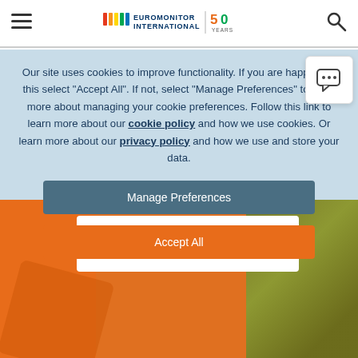Euromonitor International 50 Years — navigation header with hamburger menu and search icon
Our site uses cookies to improve functionality. If you are happy with this select "Accept All". If not, select "Manage Preferences" to learn more about managing your cookie preferences. Follow this link to learn more about our cookie policy and how we use cookies. Or learn more about our privacy policy and how we use and store your data.
Manage Preferences
Accept All
[Figure (screenshot): Chat bubble icon button in top right corner of cookie consent overlay]
Discover more